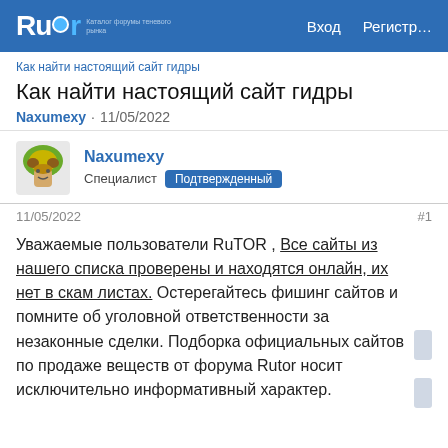Rutor — Вход   Регистр…
Как найти настоящий сайт гидры
Как найти настоящий сайт гидры
Naxumexy · 11/05/2022
Naxumexy
Специалист  Подтвержденный
11/05/2022   #1
Уважаемые пользователи RuTOR , Все сайты из нашего списка проверены и находятся онлайн, их нет в скам листах. Остерегайтесь фишинг сайтов и помните об уголовной ответственности за незаконные сделки. Подборка официальных сайтов по продаже веществ от форума Rutor носит исключительно информативный характер.